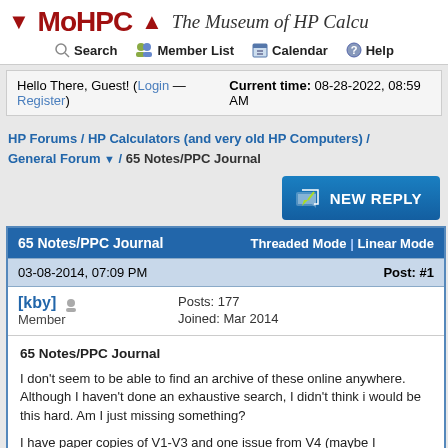MoHPC - The Museum of HP Calculators
Hello There, Guest! (Login — Register)  Current time: 08-28-2022, 08:59 AM
HP Forums / HP Calculators (and very old HP Computers) / General Forum / 65 Notes/PPC Journal
NEW REPLY
65 Notes/PPC Journal  Threaded Mode | Linear Mode
03-08-2014, 07:09 PM  Post: #1
[kby]  Member  Posts: 177  Joined: Mar 2014
65 Notes/PPC Journal

I don't seem to be able to find an archive of these online anywhere. Although I haven't done an exhaustive search, I didn't think i would be this hard. Am I just missing something?

I have paper copies of V1-V3 and one issue from V4 (maybe I have the rest of V4, but it is dusty with the remaining issues on the shelf)